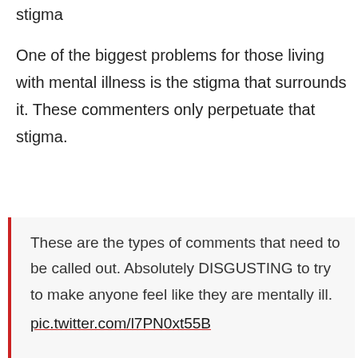stigma
One of the biggest problems for those living with mental illness is the stigma that surrounds it. These commenters only perpetuate that stigma.
These are the types of comments that need to be called out. Absolutely DISGUSTING to try to make anyone feel like they are mentally ill.
pic.twitter.com/l7PN0xt55B